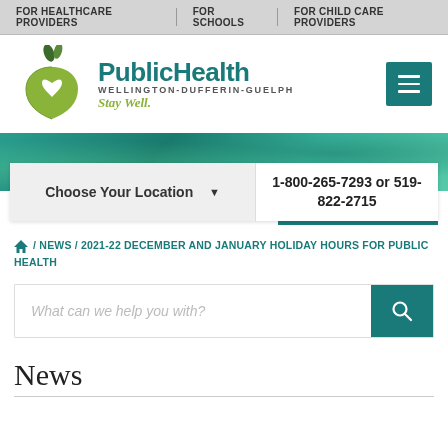FOR HEALTHCARE PROVIDERS | FOR SCHOOLS | FOR CHILD CARE PROVIDERS
[Figure (logo): Public Health Wellington-Dufferin-Guelph logo with apple-heart icon and tagline Stay Well.]
[Figure (photo): Green teal hero banner background image]
Choose Your Location ▼
1-800-265-7293 or 519-822-2715
🏠 / NEWS / 2021-22 DECEMBER AND JANUARY HOLIDAY HOURS FOR PUBLIC HEALTH
What can we help you with?
News